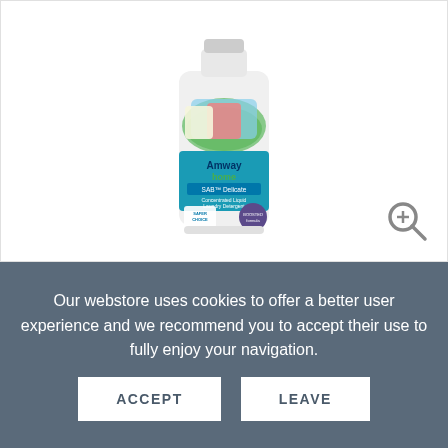[Figure (photo): Amway Home SAB Delicate Concentrated Liquid Laundry Detergent bottle with Safer Choice badge and green leaf/clothes imagery, shown with a zoom magnifier icon in the bottom right corner]
Our webstore uses cookies to offer a better user experience and we recommend you to accept their use to fully enjoy your navigation.
ACCEPT
LEAVE